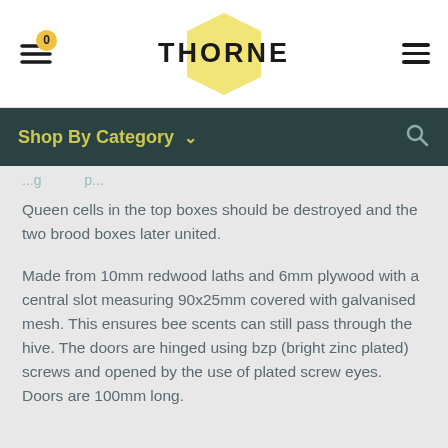THORNE
Shop By Category
Queen cells in the top boxes should be destroyed and the two brood boxes later united.
Made from 10mm redwood laths and 6mm plywood with a central slot measuring 90x25mm covered with galvanised mesh. This ensures bee scents can still pass through the hive. The doors are hinged using bzp (bright zinc plated) screws and opened by the use of plated screw eyes. Doors are 100mm long.